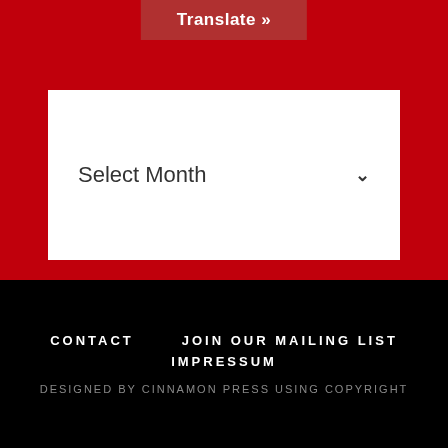Translate »
Select Month
Search this website
CONTACT   JOIN OUR MAILING LIST   IMPRESSUM   DESIGNED BY CINNAMON PRESS USING COPYRIGHT